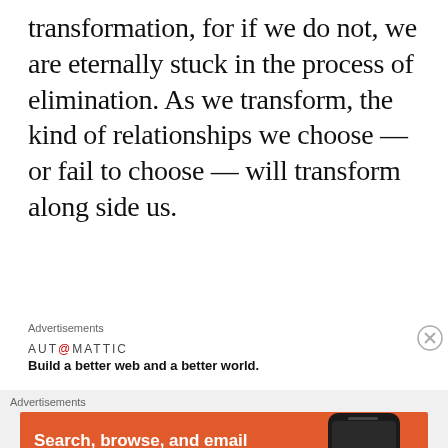transformation, for if we do not, we are eternally stuck in the process of elimination. As we transform, the kind of relationships we choose — or fail to choose — will transform along side us.
Advertisements
[Figure (infographic): Automattic advertisement: logo with red @ symbol, tagline 'Build a better web and a better world.']
Advertisements
[Figure (infographic): DuckDuckGo advertisement banner with orange background: 'Search, browse, and email with more privacy. All in One Free App' with DuckDuckGo logo and phone image.]